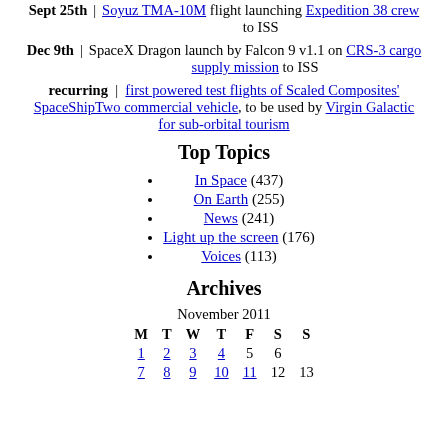Sept 25th | Soyuz TMA-10M flight launching Expedition 38 crew to ISS
Dec 9th | SpaceX Dragon launch by Falcon 9 v1.1 on CRS-3 cargo supply mission to ISS
recurring | first powered test flights of Scaled Composites' SpaceShipTwo commercial vehicle, to be used by Virgin Galactic for sub-orbital tourism
Top Topics
In Space (437)
On Earth (255)
News (241)
Light up the screen (176)
Voices (113)
Archives
| M | T | W | T | F | S | S |
| --- | --- | --- | --- | --- | --- | --- |
| 1 | 2 | 3 | 4 | 5 | 6 |  |
| 7 | 8 | 9 | 10 | 11 | 12 | 13 |